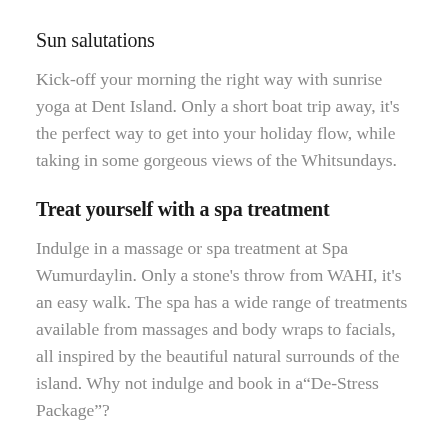Sun salutations
Kick-off your morning the right way with sunrise yoga at Dent Island. Only a short boat trip away, it's the perfect way to get into your holiday flow, while taking in some gorgeous views of the Whitsundays.
Treat yourself with a spa treatment
Indulge in a massage or spa treatment at Spa Wumurdaylin. Only a stone's throw from WAHI, it's an easy walk. The spa has a wide range of treatments available from massages and body wraps to facials, all inspired by the beautiful natural surrounds of the island. Why not indulge and book in a“De-Stress Package”?